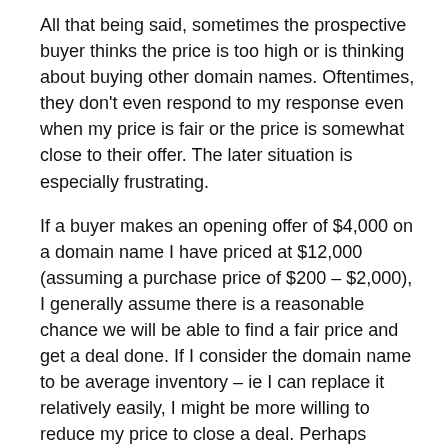All that being said, sometimes the prospective buyer thinks the price is too high or is thinking about buying other domain names. Oftentimes, they don't even respond to my response even when my price is fair or the price is somewhat close to their offer. The later situation is especially frustrating.
If a buyer makes an opening offer of $4,000 on a domain name I have priced at $12,000 (assuming a purchase price of $200 – $2,000), I generally assume there is a reasonable chance we will be able to find a fair price and get a deal done. If I consider the domain name to be average inventory – ie I can replace it relatively easily, I might be more willing to reduce my price to close a deal. Perhaps reducing it to $10,000 or even $8,000 – will be enough to get a deal done. The buyer appreciates the concession and I still have room for a decent profit.
The issue with a negotiation is that should I be the first to follow up with a price reduction, the prospect may detect weakness. The prospect may think that if I immediately reduce my price, I